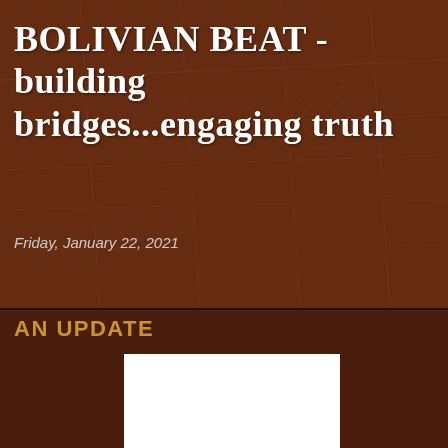BOLIVIAN BEAT - building bridges...engaging truth
Friday, January 22, 2021
AN UPDATE
[Figure (photo): White rectangular image placeholder, likely a photo related to Bolivia or missionary work]
Dear Praying Friends,
22/01/2021